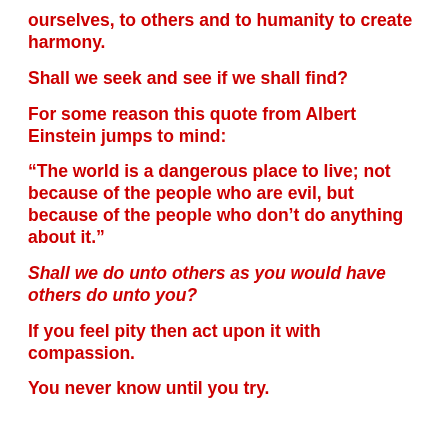ourselves, to others and to humanity to create harmony.
Shall we seek and see if we shall find?
For some reason this quote from Albert Einstein jumps to mind:
“The world is a dangerous place to live; not because of the people who are evil, but because of the people who don’t do anything about it.”
Shall we do unto others as you would have others do unto you?
If you feel pity then act upon it with compassion.
You never know until you try.